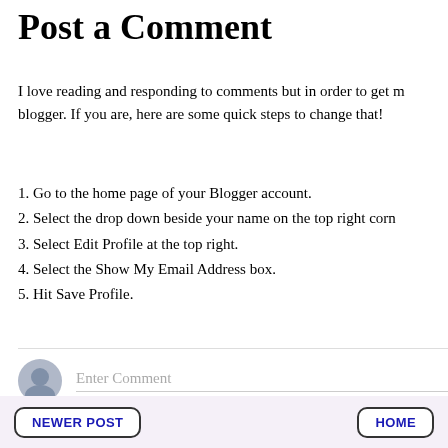Post a Comment
I love reading and responding to comments but in order to get my reply you need to leave me your email if you are a no-reply blogger. If you are, here are some quick steps to change that!
1. Go to the home page of your Blogger account.
2. Select the drop down beside your name on the top right corner.
3. Select Edit Profile at the top right.
4. Select the Show My Email Address box.
5. Hit Save Profile.
[Figure (other): Comment input field with user avatar icon and placeholder text 'Enter Comment']
NEWER POST    HOME